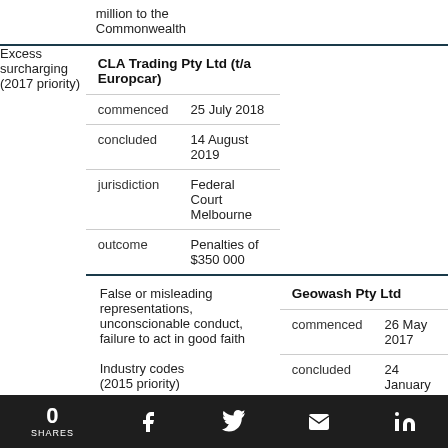| Issue | Case | Detail | Value |
| --- | --- | --- | --- |
|  | million to the Commonwealth |  |  |
| Excess surcharging (2017 priority) | CLA Trading Pty Ltd (t/a Europcar) |  |  |
|  | commenced | 25 July 2018 |  |
|  | concluded | 14 August 2019 |  |
|  | jurisdiction | Federal Court Melbourne |  |
|  | outcome | Penalties of $350 000 |  |
| False or misleading representations, unconscionable conduct, failure to act in good faith

Industry codes (2015 priority) | Geowash Pty Ltd |  |  |
|  | commenced | 26 May 2017 |  |
|  | concluded | 24 January 2020 |  |
|  | jurisdiction | Federal Court Perth |  |
|  | outcome | Penalties of $4.2 |  |
0 SHARES